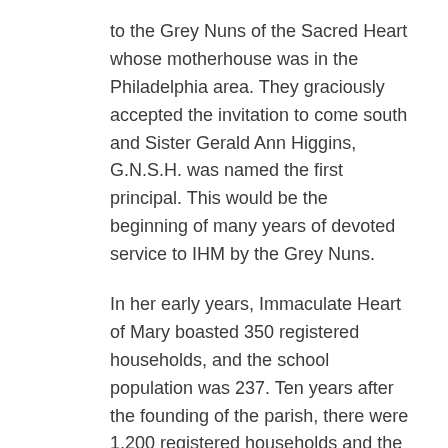to the Grey Nuns of the Sacred Heart whose motherhouse was in the Philadelphia area. They graciously accepted the invitation to come south and Sister Gerald Ann Higgins, G.N.S.H. was named the first principal. This would be the beginning of many years of devoted service to IHM by the Grey Nuns.
In her early years, Immaculate Heart of Mary boasted 350 registered households, and the school population was 237. Ten years after the founding of the parish, there were 1,200 registered households and the continual growth of the school called for the construction of a new wing (Middle School Annex). Two years later, the school was accredited by The Southern Association of Colleges and Schools (SACS).
As the parish grew in numbers and as the years passed, the original buildings needed to be expanded and modernized. In 1985, the school